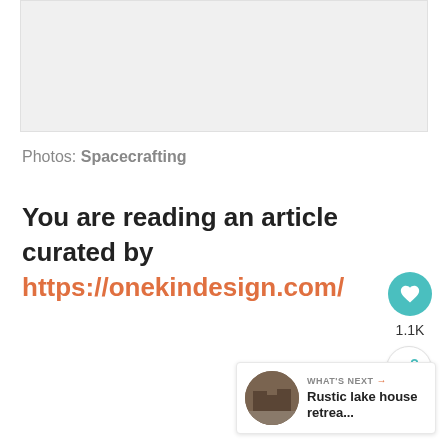[Figure (photo): Light gray placeholder image area at top of page]
Photos: Spacecrafting
You are reading an article curated by https://onekindesign.com/
[Figure (other): Like button (teal heart icon) with 1.1K count and share button below]
[Figure (other): What's Next card: Rustic lake house retrea... with thumbnail photo]